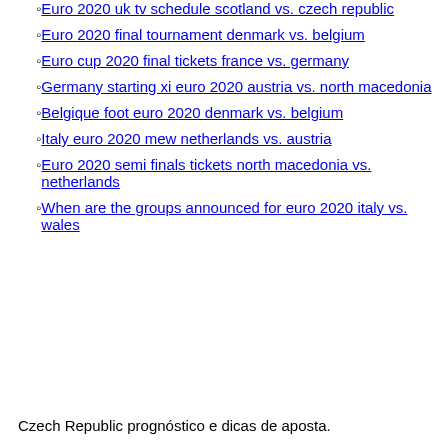Euro 2020 uk tv schedule scotland vs. czech republic
Euro 2020 final tournament denmark vs. belgium
Euro cup 2020 final tickets france vs. germany
Germany starting xi euro 2020 austria vs. north macedonia
Belgique foot euro 2020 denmark vs. belgium
Italy euro 2020 mew netherlands vs. austria
Euro 2020 semi finals tickets north macedonia vs. netherlands
When are the groups announced for euro 2020 italy vs. wales
Czech Republic prognóstico e dicas de aposta.